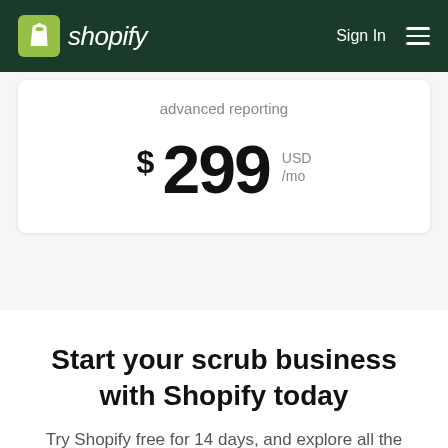shopify  Sign In
advanced reporting
$299 USD /mo
Start your scrub business with Shopify today
Try Shopify free for 14 days, and explore all the